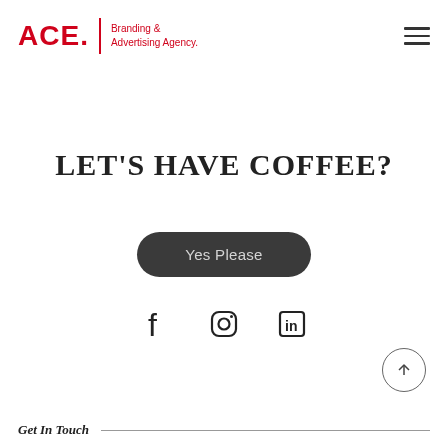[Figure (logo): ACE. Branding & Advertising Agency logo with red text and vertical divider line]
[Figure (illustration): Hamburger menu icon — three horizontal lines]
LET'S HAVE COFFEE?
[Figure (illustration): Dark rounded pill-shaped button with text 'Yes Please']
[Figure (illustration): Social media icons: Facebook, Instagram, LinkedIn]
[Figure (illustration): Back to top arrow button — circle with upward arrow]
Get In Touch